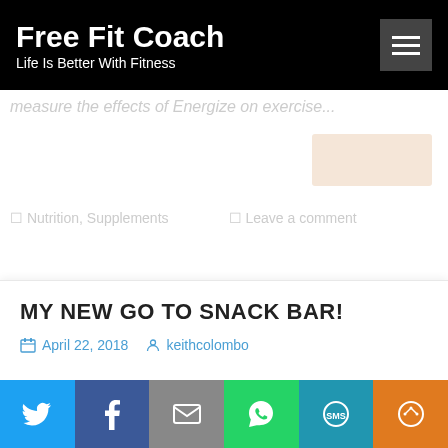Free Fit Coach — Life Is Better With Fitness
measure the effects of Energize on exercise...
MY NEW GO TO SNACK BAR!
April 22, 2018  keithcolombo
Social share bar: Twitter, Facebook, Email, WhatsApp, SMS, More